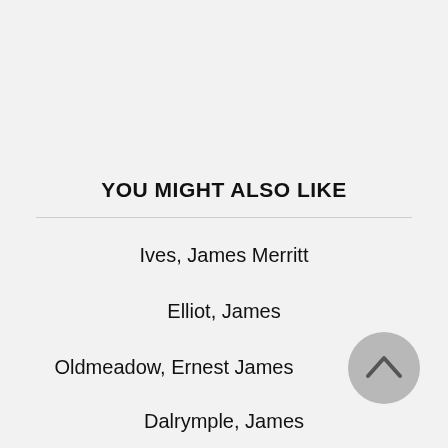YOU MIGHT ALSO LIKE
Ives, James Merritt
Elliot, James
Oldmeadow, Ernest James
Dalrymple, James
Stanley, James